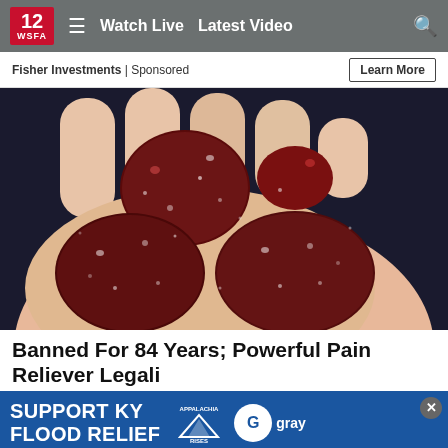12 WSFA  ≡  Watch Live  Latest Video  🔍
Fisher Investments | Sponsored
[Figure (photo): A hand holding several red/maroon sugar-coated gummy candies against a dark background]
Banned For 84 Years; Powerful Pain Reliever Legali…
SUPPORT KY FLOOD RELIEF — APPALACHIA RISES — gray
Health Hea…